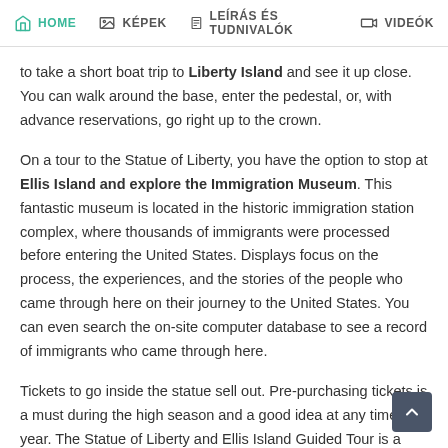HOME  KÉPEK  LEÍRÁS ÉS TUDNIVALÓK  VIDEÓK
to take a short boat trip to Liberty Island and see it up close. You can walk around the base, enter the pedestal, or, with advance reservations, go right up to the crown.
On a tour to the Statue of Liberty, you have the option to stop at Ellis Island and explore the Immigration Museum. This fantastic museum is located in the historic immigration station complex, where thousands of immigrants were processed before entering the United States. Displays focus on the process, the experiences, and the stories of the people who came through here on their journey to the United States. You can even search the on-site computer database to see a record of immigrants who came through here.
Tickets to go inside the statue sell out. Pre-purchasing tickets is a must during the high season and a good idea at any time of year. The Statue of Liberty and Ellis Island Guided Tour is a four-hour trip that takes you to both the Statue of Liberty and